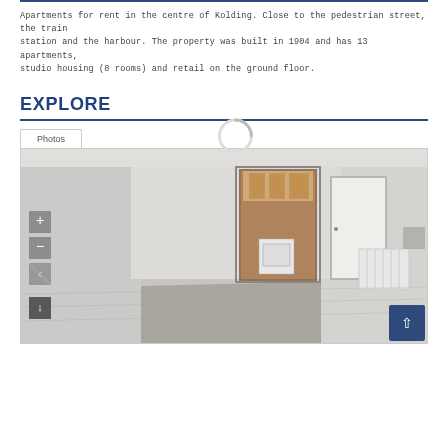Apartments for rent in the centre of Kolding. Close to the pedestrian street, the train station and the harbour. The property was built in 1904 and has 13 apartments, studio housing (8 rooms) and retail on the ground floor.
EXPLORE
[Figure (photo): Interior photo of an empty apartment room with white walls, grey floor, open door showing a kitchen with wooden cabinets, white appliances, and a white radiator visible on the right side wall. Navigation controls overlay the image.]